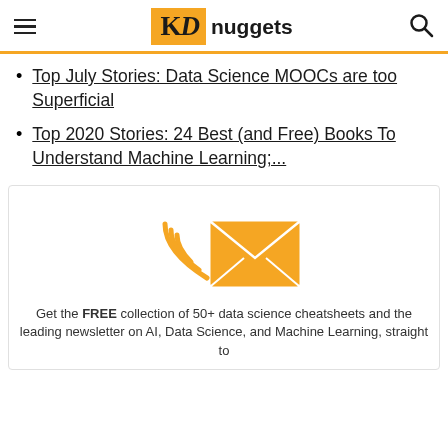KDnuggets
Top July Stories: Data Science MOOCs are too Superficial
Top 2020 Stories: 24 Best (and Free) Books To Understand Machine Learning;...
[Figure (illustration): Golden envelope with wifi/signal waves icon representing newsletter subscription]
Get the FREE collection of 50+ data science cheatsheets and the leading newsletter on AI, Data Science, and Machine Learning, straight to